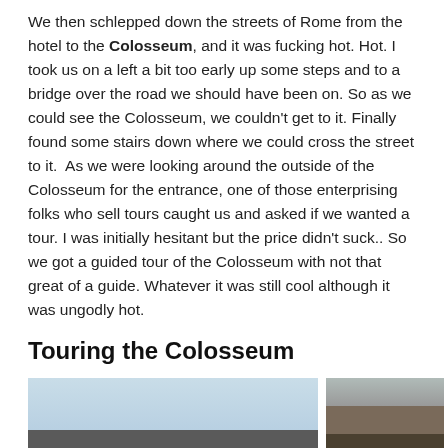We then schlepped down the streets of Rome from the hotel to the Colosseum, and it was fucking hot. Hot. I took us on a left a bit too early up some steps and to a bridge over the road we should have been on. So as we could see the Colosseum, we couldn't get to it. Finally found some stairs down where we could cross the street to it.  As we were looking around the outside of the Colosseum for the entrance, one of those enterprising folks who sell tours caught us and asked if we wanted a tour. I was initially hesitant but the price didn't suck.. So we got a guided tour of the Colosseum with not that great of a guide. Whatever it was still cool although it was ungodly hot.
Touring the Colosseum
[Figure (photo): Two photos side by side: left photo shows a light blue sky with dark silhouettes at the bottom; right photo shows a woman wearing sunglasses in front of the Colosseum.]